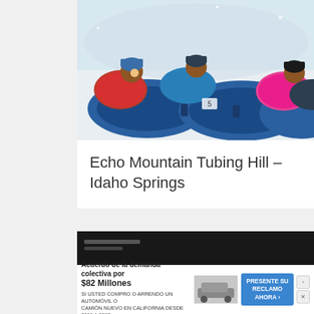[Figure (photo): Children and adults lying in blue snow tubes on a snowy hill, wearing winter jackets and hats. One person wears a red jacket, another wears a pink jacket and blue puffy coat.]
Echo Mountain Tubing Hill – Idaho Springs
[Figure (photo): Dark background image partially visible at bottom of page, with an advertisement overlay in Spanish: 'Acuerdo de la demanda colectiva por $82 Millones. Si usted compro o arrendo un automóvil o camión nuevo en California desde 2001 a 2003. Presente su reclamo ahora.']